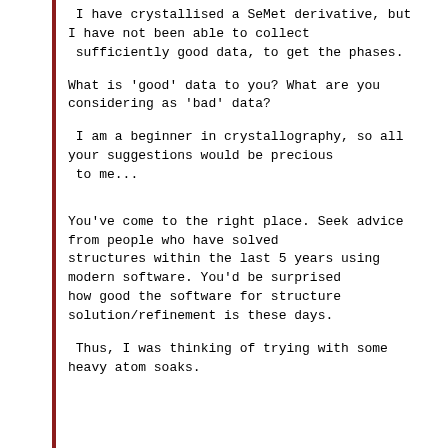I have crystallised a SeMet derivative, but I have not been able to collect  sufficiently good data, to get the phases.
What is 'good' data to you? What are you considering as 'bad' data?
I am a beginner in crystallography, so all your suggestions would be precious  to me...
You've come to the right place. Seek advice from people who have solved structures within the last 5 years using modern software. You'd be surprised how good the software for structure solution/refinement is these days.
Thus, I was thinking of trying with some heavy atom soaks.